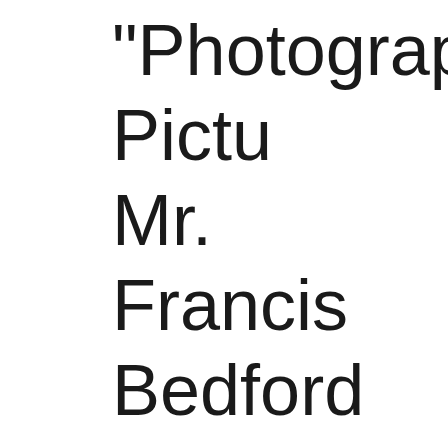"Photographic Pictu Mr. Francis Bedford in the East in which he accompanied Hi Highness the Prince
172 photographs. A each is approximate inches